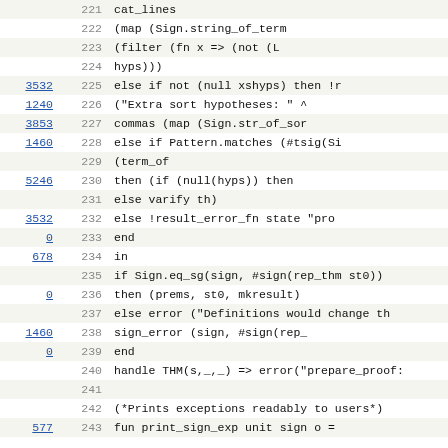| ref | line | code |
| --- | --- | --- |
|  | 221 |                         cat_lines |
|  | 222 |                             (map (Sign.string_of_term |
|  | 223 |                             (filter (fn x => (not (L |
|  | 224 |                                 hyps))) |
| 3532 | 225 |         else if not (null xshyps) then !r |
| 1240 | 226 |             ("Extra sort hypotheses: " ^ |
| 3853 | 227 |                 commas (map (Sign.str_of_sor |
| 1460 | 228 |         else if Pattern.matches (#tsig(Si |
|  | 229 |                                 (term_of |
| 5246 | 230 |                 then  (if (null(hyps)) then |
|  | 231 |                         else varify th) |
| 3532 | 232 |         else  !result_error_fn state "pro |
| 0 | 233 |     end |
| 678 | 234 |     in |
|  | 235 |         if Sign.eq_sg(sign, #sign(rep_thm st0)) |
| 0 | 236 |         then (prems, st0, mkresult) |
|  | 237 |         else error ("Definitions would change th |
| 1460 | 238 |                     sign_error (sign, #sign(rep_ |
| 0 | 239 |     end |
|  | 240 |     handle THM(s,_,_) => error("prepare_proof: |
|  | 241 |  |
|  | 242 |     (*Prints exceptions readably to users*) |
| 577 | 243 |     fun print_sign_exp unit sign o = |